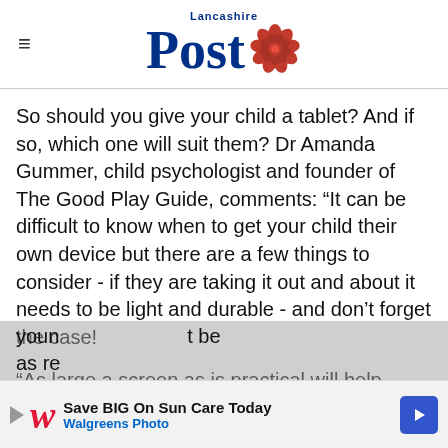Lancashire Post
So should you give your child a tablet? And if so, which one will suit them? Dr Amanda Gummer, child psychologist and founder of The Good Play Guide, comments: “It can be difficult to know when to get your child their own device but there are a few things to consider - if they are taking it out and about it needs to be light and durable - and don’t forget the case!
“As large a screen as is practical will help young children’s fine motor ability, will not be as re…
[Figure (screenshot): Walgreens Photo advertisement banner: Save BIG On Sun Care Today]